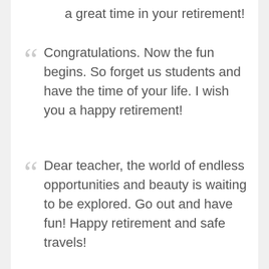a great time in your retirement!
Congratulations. Now the fun begins. So forget us students and have the time of your life. I wish you a happy retirement!
Dear teacher, the world of endless opportunities and beauty is waiting to be explored. Go out and have fun! Happy retirement and safe travels!